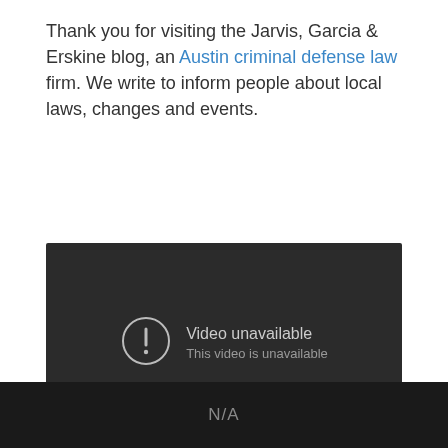Thank you for visiting the Jarvis, Garcia & Erskine blog, an Austin criminal defense law firm. We write to inform people about local laws, changes and events.
[Figure (screenshot): Embedded video player showing 'Video unavailable - This video is unavailable' message on a dark background with YouTube logo in lower right corner.]
N/A